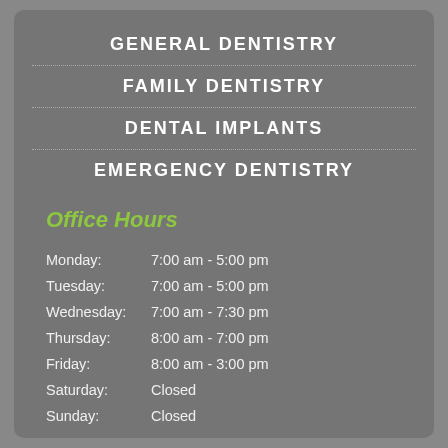GENERAL DENTISTRY
FAMILY DENTISTRY
DENTAL IMPLANTS
EMERGENCY DENTISTRY
Office Hours
Monday: 7:00 am - 5:00 pm
Tuesday: 7:00 am - 5:00 pm
Wednesday: 7:00 am - 7:30 pm
Thursday: 8:00 am - 7:00 pm
Friday: 8:00 am - 3:00 pm
Saturday: Closed
Sunday: Closed